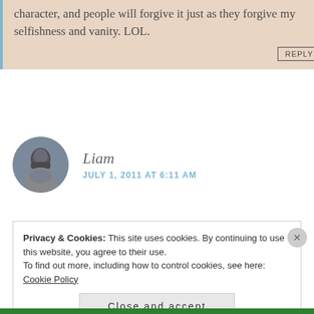character, and people will forgive it just as they forgive my selfishness and vanity. LOL.
REPLY
Liam
JULY 1, 2011 AT 6:11 AM
Privacy & Cookies: This site uses cookies. By continuing to use this website, you agree to their use.
To find out more, including how to control cookies, see here: Cookie Policy
Close and accept